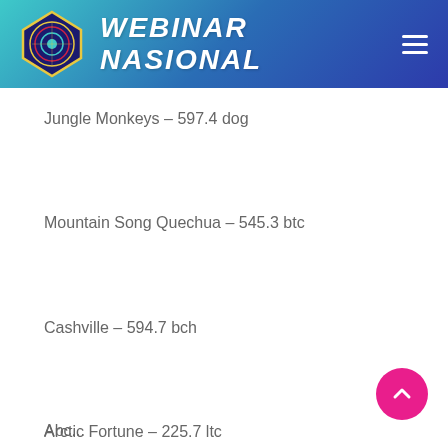[Figure (logo): Webinar Nasional logo with circular emblem and text]
Jungle Monkeys – 597.4 dog
Mountain Song Quechua – 545.3 btc
Cashville – 594.7 bch
Arctic Fortune – 225.7 ltc